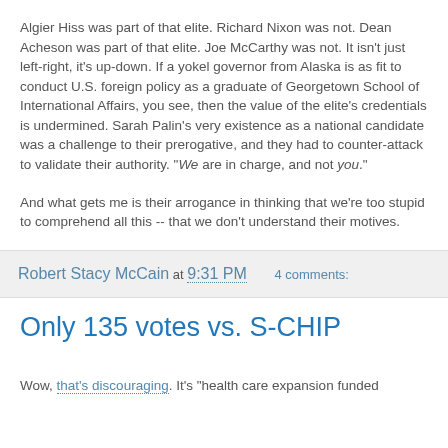Algier Hiss was part of that elite. Richard Nixon was not. Dean Acheson was part of that elite. Joe McCarthy was not. It isn't just left-right, it's up-down. If a yokel governor from Alaska is as fit to conduct U.S. foreign policy as a graduate of Georgetown School of International Affairs, you see, then the value of the elite's credentials is undermined. Sarah Palin's very existence as a national candidate was a challenge to their prerogative, and they had to counter-attack to validate their authority. "We are in charge, and not you."
And what gets me is their arrogance in thinking that we're too stupid to comprehend all this -- that we don't understand their motives.
Robert Stacy McCain at 9:31 PM    4 comments:
Only 135 votes vs. S-CHIP
Wow, that's discouraging. It's "health care expansion funded